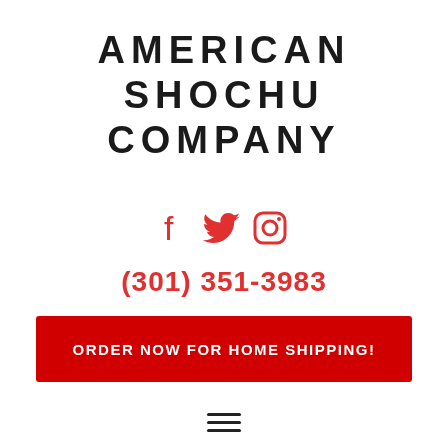AMERICAN SHOCHU COMPANY
[Figure (infographic): Three social media icons (Facebook, Twitter, Instagram) in red]
(301) 351-3983
ORDER NOW FOR HOME SHIPPING!
[Figure (infographic): Hamburger menu icon (three horizontal lines)]